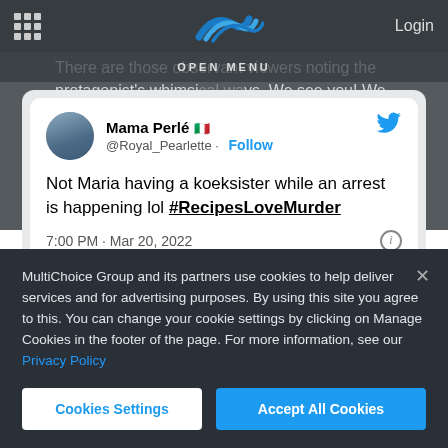OPEN MENU | Login
There are those observant viewers noting the protagonist's whimsical ways. We see you! We reckon Tannie Maria uses food as a coping
[Figure (screenshot): Tweet from @Royal_Pearlette (Mama Perlé): 'Not Maria having a koeksister while an arrest is happening lol #RecipesLoveMurder' posted at 7:00 PM · Mar 20, 2022]
MultiChoice Group and its partners use cookies to help deliver services and for advertising purposes. By using this site you agree to this. You can change your cookie settings by clicking on Manage Cookies in the footer of the page. For more information, see our Privacy Policy
Cookies Settings | Accept All Cookies